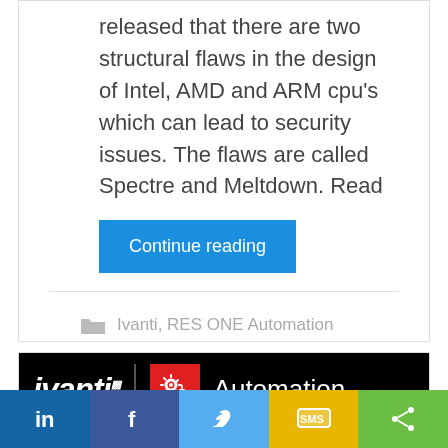released that there are two structural flaws in the design of Intel, AMD and ARM cpu's which can lead to security issues. The flaws are called Spectre and Meltdown. Read
Continue reading
Ivanti, RES ONE Automation
Leave a comment
[Figure (logo): Ivanti Automation logo on black background with red gear icon box]
[Figure (infographic): Social share bar with LinkedIn, Facebook, Twitter, SMS, and share icons]